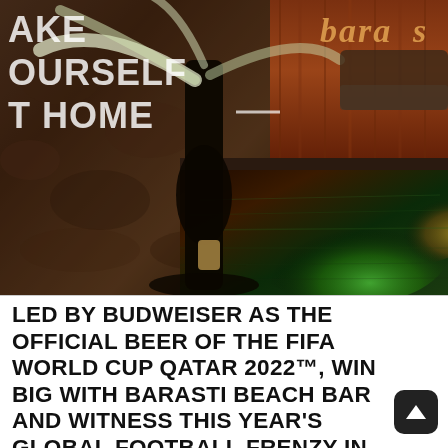[Figure (photo): A nighttime photo of Barasti Beach Bar showing a dimly lit pool area with green and warm yellow lighting reflections on the water. On the top left there is white text overlay reading 'MAKE YOURSELF AT HOME'. On the top right there is a stylized 'baras' logo in gold italic text. In the center is a large dark figure/palm tree silhouette against the lit background. Stone wall texture on the left, warm wood paneling on the right.]
LED BY BUDWEISER AS THE OFFICIAL BEER OF THE FIFA WORLD CUP QATAR 2022™, WIN BIG WITH BARASTI BEACH BAR AND WITNESS THIS YEAR'S GLOBAL FOOTBALL FRENZY IN ALL ITS GLORY!